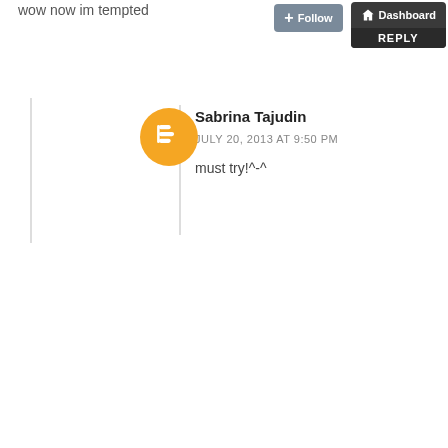wow now im tempted
[Figure (screenshot): Follow button and Dashboard/Reply buttons in top right corner]
Sabrina Tajudin
JULY 20, 2013 AT 9:50 PM
must try!^-^